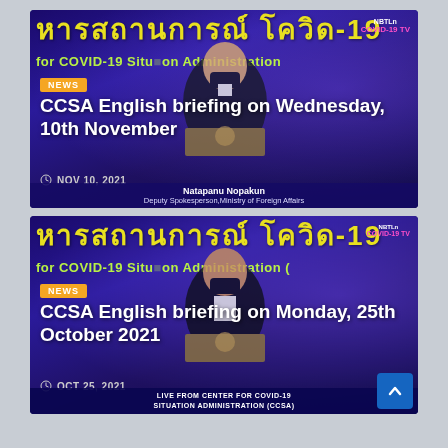[Figure (screenshot): CCSA COVID-19 English briefing news card for Wednesday, 10th November 2021. Shows a person in dark suit and mask at podium in front of a blue/purple COVID-19 Situation Administration background with Thai and English text. NEWS badge visible. Date shown: NOV 10, 2021. Nameplate: Natapanu Nopakun, Deputy Spokesperson, Ministry of Foreign Affairs.]
[Figure (screenshot): CCSA COVID-19 English briefing news card for Monday, 25th October 2021. Shows a person in dark jacket at podium in front of same blue/purple COVID-19 Situation Administration background. NEWS badge visible. Date shown: OCT 25, 2021. Bottom bar reads LIVE FROM CENTER FOR COVID-19 SITUATION ADMINISTRATION (CCSA).]